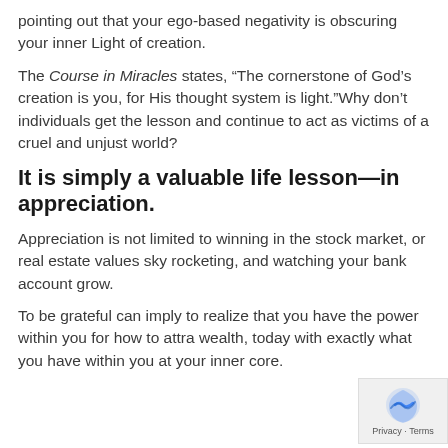pointing out that your ego-based negativity is obscuring your inner Light of creation.
The Course in Miracles states, “The cornerstone of God’s creation is you, for His thought system is light.”Why don’t individuals get the lesson and continue to act as victims of a cruel and unjust world?
It is simply a valuable life lesson—in appreciation.
Appreciation is not limited to winning in the stock market, or real estate values sky rocketing, and watching your bank account grow.
To be grateful can imply to realize that you have the power within you for how to attract wealth, today with exactly what you have within you at your inner core.